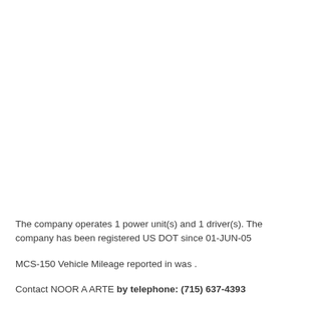The company operates 1 power unit(s) and 1 driver(s). The company has been registered US DOT since 01-JUN-05
MCS-150 Vehicle Mileage reported in was .
Contact NOOR A ARTE by telephone: (715) 637-4393